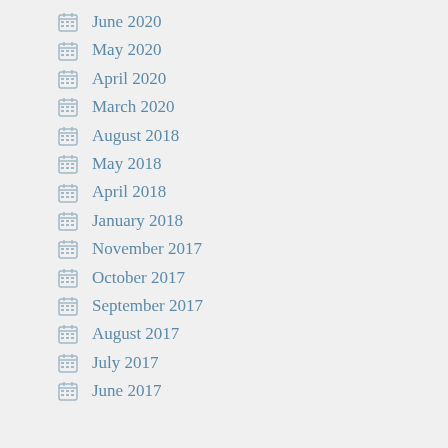June 2020
May 2020
April 2020
March 2020
August 2018
May 2018
April 2018
January 2018
November 2017
October 2017
September 2017
August 2017
July 2017
June 2017